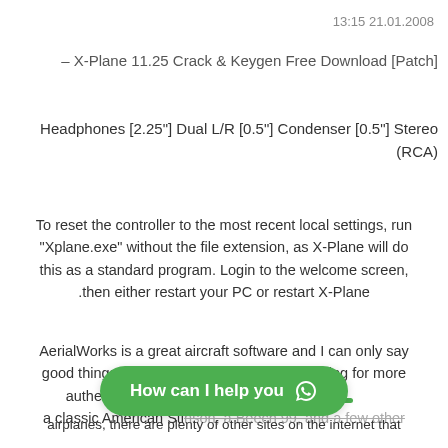13:15 21.01.2008
– X-Plane 11.25 Crack & Keygen Free Download [Patch]
Headphones [2.25"] Dual L/R [0.5"] Condenser [0.5"] Stereo (RCA)
To reset the controller to the most recent local settings, run "Xplane.exe" without the file extension, as X-Plane will do this as a standard program. Login to the welcome screen, then either restart your PC or restart X-Plane.
AerialWorks is a great aircraft software and I can only say good things about it, however, if you are looking for more authentic aircraft like a Ce... a classic American Stinson, a Beech 99, and a few other airplanes, there are plenty of other sites on the internet that
[Figure (screenshot): Green WhatsApp-style chat button with text 'How can I help you' and WhatsApp logo icon]